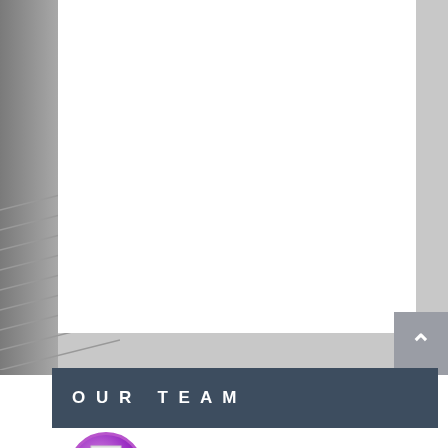[Figure (screenshot): Blurred background with decorative diagonal lines on the left side and a white panel on the right. A grey scroll-to-top button with an upward arrow is visible in the bottom-right corner of the upper area.]
OUR TEAM
IRA 32 Posts